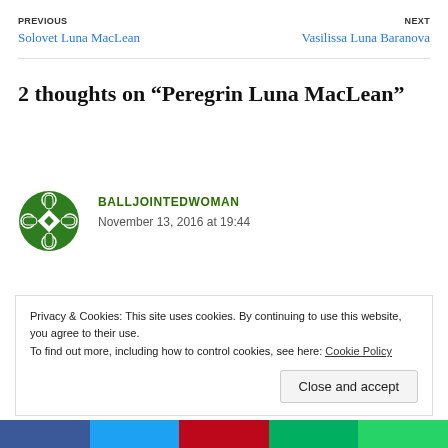PREVIOUS
Solovet Luna MacLean
NEXT
Vasilissa Luna Baranova
2 thoughts on “Peregrin Luna MacLean”
[Figure (logo): Green circular avatar icon with geometric pattern]
BALLJOINTEDWOMAN
November 13, 2016 at 19:44
Privacy & Cookies: This site uses cookies. By continuing to use this website, you agree to their use.
To find out more, including how to control cookies, see here: Cookie Policy
Close and accept